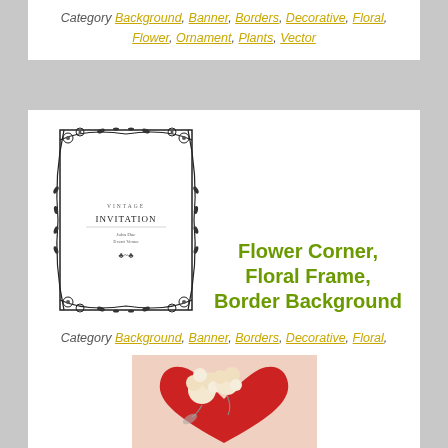Category Background, Banner, Borders, Decorative, Floral, Flower, Ornament, Plants, Vector
[Figure (illustration): Vintage floral border frame invitation card with decorative black vine and flower corners, text reading VINTAGE INVITATION]
Flower Corner, Floral Frame, Border Background
Category Background, Banner, Borders, Decorative, Floral, Flower, Ornament, Pattern, Vector
[Figure (illustration): Red heart decorated with cream-colored flowers on a peach/pink background, with partial text 'with love' at bottom]